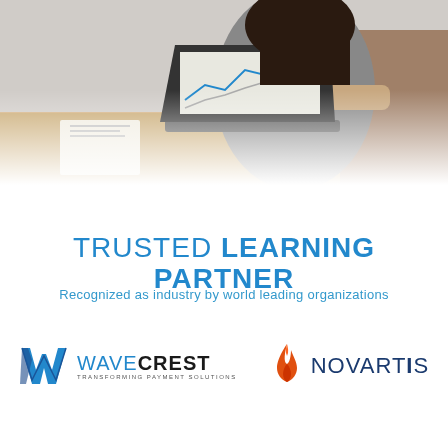[Figure (photo): Woman in a grey dress working on a laptop at a wooden desk, viewed from the side, with a chart visible on the laptop screen]
TRUSTED LEARNING PARTNER
Recognized as industry by world leading organizations
[Figure (logo): WaveCrest logo with a blue W icon and text WAVECREST TRANSFORMING PAYMENT SOLUTIONS]
[Figure (logo): Novartis logo with orange flame icon and text NOVARTIS]